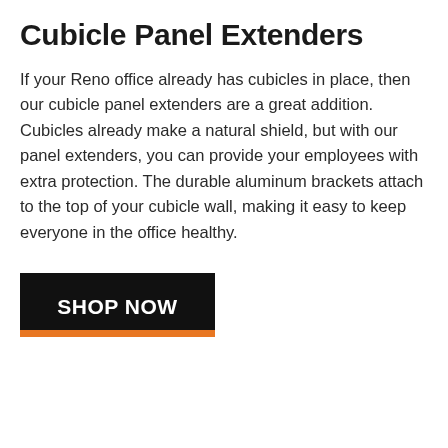Cubicle Panel Extenders
If your Reno office already has cubicles in place, then our cubicle panel extenders are a great addition. Cubicles already make a natural shield, but with our panel extenders, you can provide your employees with extra protection. The durable aluminum brackets attach to the top of your cubicle wall, making it easy to keep everyone in the office healthy.
SHOP NOW